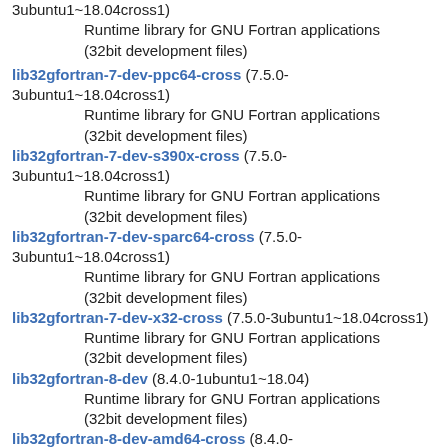3ubuntu1~18.04cross1)
Runtime library for GNU Fortran applications (32bit development files)
lib32gfortran-7-dev-ppc64-cross (7.5.0-3ubuntu1~18.04cross1)
Runtime library for GNU Fortran applications (32bit development files)
lib32gfortran-7-dev-s390x-cross (7.5.0-3ubuntu1~18.04cross1)
Runtime library for GNU Fortran applications (32bit development files)
lib32gfortran-7-dev-sparc64-cross (7.5.0-3ubuntu1~18.04cross1)
Runtime library for GNU Fortran applications (32bit development files)
lib32gfortran-7-dev-x32-cross (7.5.0-3ubuntu1~18.04cross1)
Runtime library for GNU Fortran applications (32bit development files)
lib32gfortran-8-dev (8.4.0-1ubuntu1~18.04)
Runtime library for GNU Fortran applications (32bit development files)
lib32gfortran-8-dev-amd64-cross (8.4.0-1ubuntu1~18.04cross2)
Runtime library for GNU Fortran applications (32bit development files)
lib32gfortran-8-dev-mips64-cross (8.4.0-